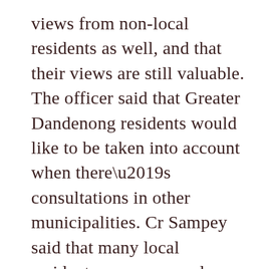views from non-local residents as well, and that their views are still valuable. The officer said that Greater Dandenong residents would like to be taken into account when there’s consultations in other municipalities. Cr Sampey said that many local residents are concerned about noise and anti-social aspects of parks and sports.